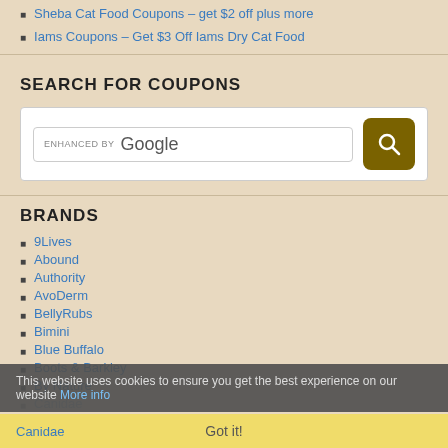Sheba Cat Food Coupons – get $2 off plus more
Iams Coupons – Get $3 Off Iams Dry Cat Food
SEARCH FOR COUPONS
[Figure (screenshot): Google custom search box with 'ENHANCED BY Google' text and a dark gold search button with magnifying glass icon]
BRANDS
9Lives
Abound
Authority
AvoDerm
BellyRubs
Bimini
Blue Buffalo
Boots & Barkley
By Nature
Canidae
Castor & Pollux
This website uses cookies to ensure you get the best experience on our website More info
Got it!